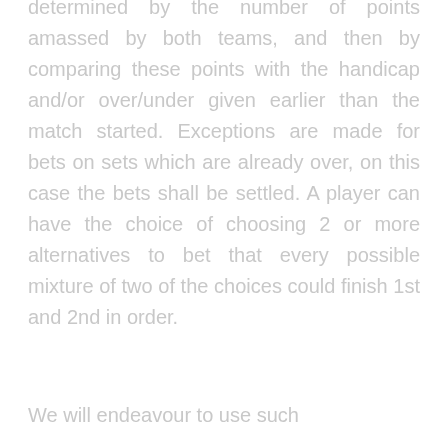determined by the number of points amassed by both teams, and then by comparing these points with the handicap and/or over/under given earlier than the match started. Exceptions are made for bets on sets which are already over, on this case the bets shall be settled. A player can have the choice of choosing 2 or more alternatives to bet that every possible mixture of two of the choices could finish 1st and 2nd in order.
We will endeavour to use such